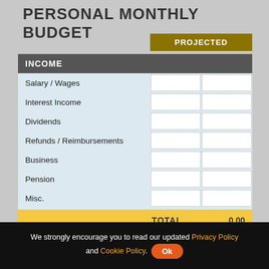PERSONAL MONTHLY BUDGET
|  | PROJECTED |  |
| --- | --- | --- |
| Salary / Wages |  |  |
| Interest Income |  |  |
| Dividends |  |  |
| Refunds / Reimbursements |  |  |
| Business |  |  |
| Pension |  |  |
| Misc. |  |  |
| TOTAL | 0.00 |  |
INCOME
SAVINGS
We strongly encourage you to read our updated Privacy Policy and Cookie Policy. Ok